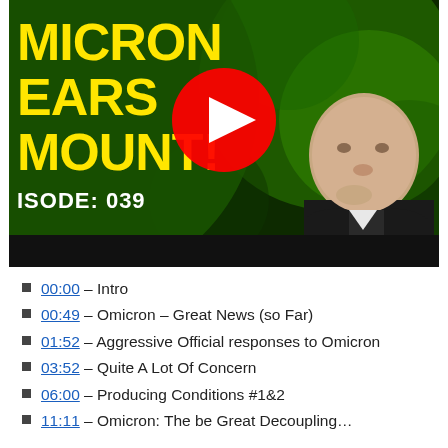[Figure (screenshot): YouTube video thumbnail screenshot showing a man in a dark suit with text 'OMICRON FEARS MOUNT! EPISODE: 039' on a dark green background with a YouTube play button overlay]
00:00 – Intro
00:49 – Omicron – Great News (so Far)
01:52 – Aggressive Official responses to Omicron
03:52 – Quite A Lot Of Concern
06:00 – Producing Conditions #1&2
11:11 – Omicron: The be Great Decoupling…